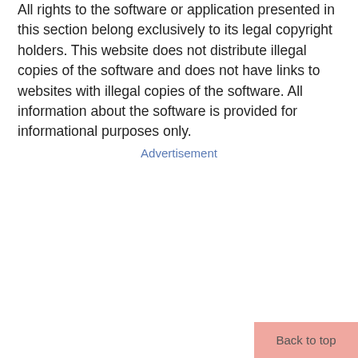All rights to the software or application presented in this section belong exclusively to its legal copyright holders. This website does not distribute illegal copies of the software and does not have links to websites with illegal copies of the software. All information about the software is provided for informational purposes only.
Advertisement
Back to top